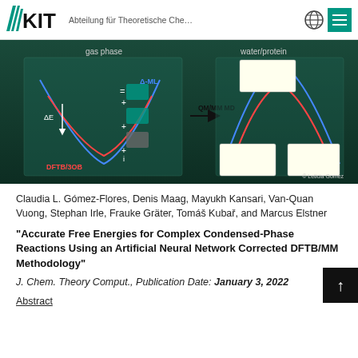KIT — Abteilung für Theoretische Che…
[Figure (illustration): Scientific diagram showing Δ-ML methodology applied to QM/MM MD simulations. Left side labeled 'gas phase' shows energy curves (blue and red) with DFTB/3OB at bottom and Δ-ML correction components stacked, with ΔE arrow. Right side labeled 'water/protein' shows the corresponding energy curves with molecular renderings in boxes. Arrow labeled 'QM/MM MD' connects the two sides. Copyright Leticia Gomez.]
Claudia L. Gómez-Flores, Denis Maag, Mayukh Kansari, Van-Quan Vuong, Stephan Irle, Frauke Gräter, Tomáš Kubař, and Marcus Elstner
"Accurate Free Energies for Complex Condensed-Phase Reactions Using an Artificial Neural Network Corrected DFTB/MM Methodology"
J. Chem. Theory Comput., Publication Date: January 3, 2022
Abstract